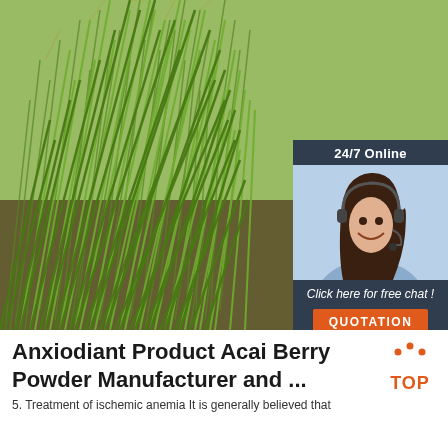[Figure (photo): Close-up photo of tall green grass blades, with a customer service chat widget overlay in the upper right showing a woman with a headset, '24/7 Online' text, 'Click here for free chat!' and an orange 'QUOTATION' button]
Anxiodiant Product Acai Berry Powder Manufacturer and ...
5. Treatment of ischemic anemia It is generally believed that